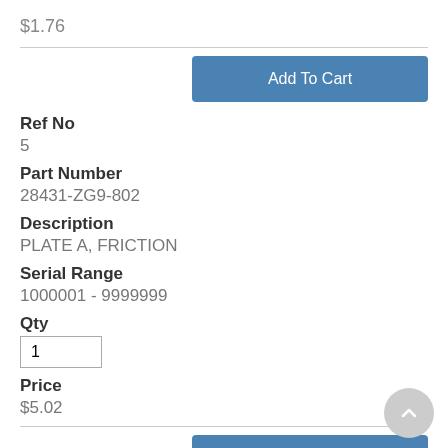$1.76
Add To Cart
Ref No
5
Part Number
28431-ZG9-802
Description
PLATE A, FRICTION
Serial Range
1000001 - 9999999
Qty
Price
$5.02
Add To Cart
Ref No
6